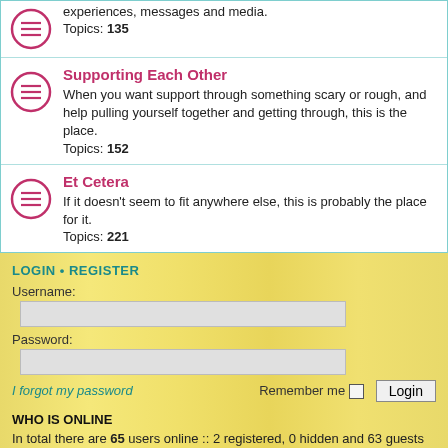experiences, messages and media. Topics: 135
Supporting Each Other
When you want support through something scary or rough, and help pulling yourself together and getting through, this is the place. Topics: 152
Et Cetera
If it doesn't seem to fit anywhere else, this is probably the place for it. Topics: 221
LOGIN • REGISTER
Username:
Password:
I forgot my password
Remember me  Login
WHO IS ONLINE
In total there are 65 users online :: 2 registered, 0 hidden and 63 guests (based on users active over the past 5 minutes)